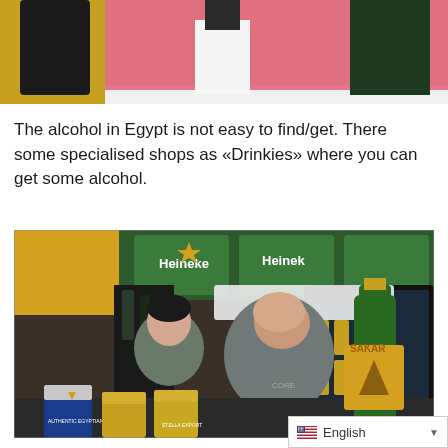[Figure (photo): Partial photo showing people standing, pink/yellow background, cropped at top of page]
The alcohol in Egypt is not easy to find/get. There some specialised shops as «Drinkies» where you can get some alcohol.
[Figure (photo): Photo inside a Drinkies liquor store in Egypt showing two men seated behind a counter with beer cans and a Sakara beer bottle, Heineken boxes visible in background, refrigerator with cans behind them]
English